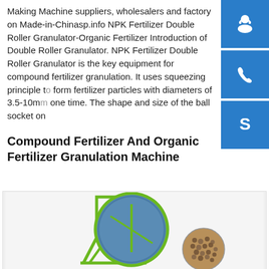Making Machine suppliers, wholesalers and factory on Made-in-Chinasp.info NPK Fertilizer Double Roller Granulator-Organic Fertilizer Introduction of Double Roller Granulator. NPK Fertilizer Double Roller Granulator is the key equipment for compound fertilizer granulation. It uses squeezing principle to form fertilizer particles with diameters of 3.5-10mm one time. The shape and size of the ball socket on
[Figure (illustration): Customer service / headset icon - blue square button]
[Figure (illustration): Phone call icon - blue square button]
[Figure (illustration): Skype icon - blue square button]
Compound Fertilizer And Organic Fertilizer Granulation Machine
[Figure (photo): Green disc granulator / pan granulator machine on a stand, with a circular inset showing fertilizer pellets/granules]